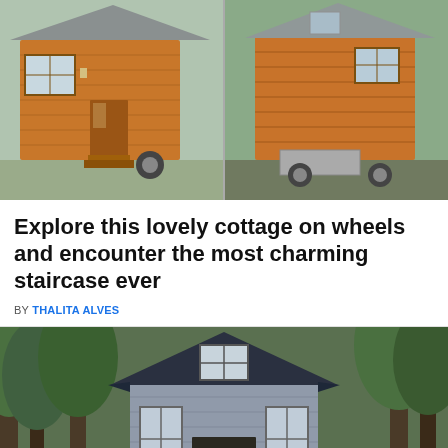[Figure (photo): Two side-by-side photos of a small wooden tiny house on wheels with cedar/pine siding. Left photo shows the front entrance with wooden steps and a wall-mounted light. Right photo shows the side view of the same or similar tiny house.]
Explore this lovely cottage on wheels and encounter the most charming staircase ever
BY THALITA ALVES
[Figure (photo): A gray/blue painted tiny house or cottage with a steep dark metal roof, surrounded by green trees. It has white-framed windows and an open front entry.]